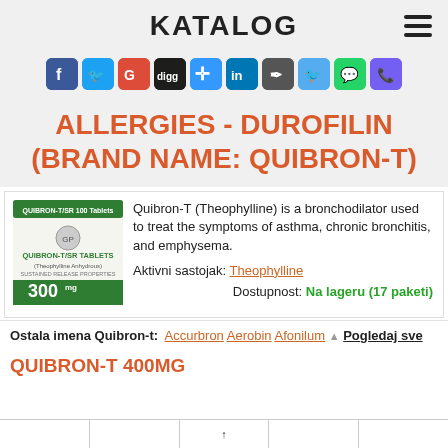KATALOG
[Figure (infographic): Row of social media sharing icons: Facebook, Twitter, Google+, Digg, Delicious, LinkedIn, Pinterest, Twitter, WhatsApp, Viber]
ALLERGIES - DUROFILIN (BRAND NAME: QUIBRON-T)
[Figure (photo): Photo of Quibron-T/SR 300mg tablet box]
Quibron-T (Theophylline) is a bronchodilator used to treat the symptoms of asthma, chronic bronchitis, and emphysema.
Aktivni sastojak: Theophylline
Dostupnost: Na lageru (17 paketi)
Ostala imena Quibron-t: Accurbron   Aerobin   Afonilum   ▲   Pogledaj sve
QUIBRON-T 400MG
|  |  |  |  |  |
| --- | --- | --- | --- | --- |
|  |  |  |  |  |